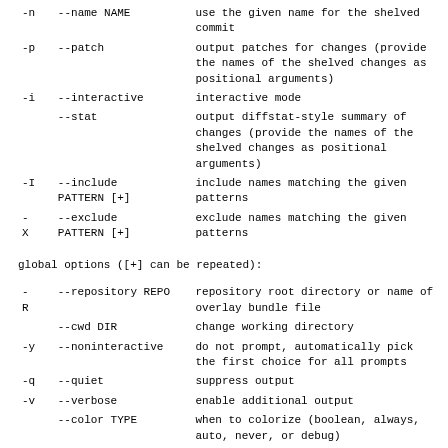| short | long | description |
| --- | --- | --- |
| -n | --name NAME | use the given name for the shelved commit |
| -p | --patch | output patches for changes (provide the names of the shelved changes as positional arguments) |
| -i | --interactive | interactive mode |
|  | --stat | output diffstat-style summary of changes (provide the names of the shelved changes as positional arguments) |
| -I | --include PATTERN [+] | include names matching the given patterns |
| - X | --exclude PATTERN [+] | exclude names matching the given patterns |
global options ([+] can be repeated):
| short | long | description |
| --- | --- | --- |
| - R | --repository REPO | repository root directory or name of overlay bundle file |
|  | --cwd DIR | change working directory |
| -y | --noninteractive | do not prompt, automatically pick the first choice for all prompts |
| -q | --quiet | suppress output |
| -v | --verbose | enable additional output |
|  | --color TYPE | when to colorize (boolean, always, auto, never, or debug) |
|  | --config CONFIG [+] | set/override config option (use 'section.name=value') |